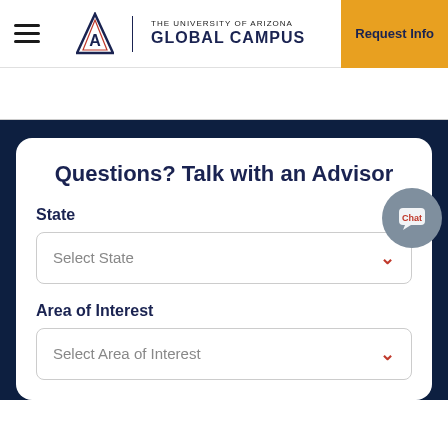THE UNIVERSITY OF ARIZONA GLOBAL CAMPUS | Request Info
Questions? Talk with an Advisor
State
Select State
Area of Interest
Select Area of Interest